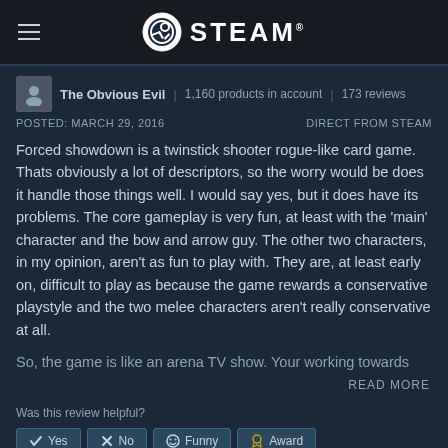STEAM
The Obvious Evil | 1,160 products in account | 173 reviews
POSTED: MARCH 29, 2016    DIRECT FROM STEAM
Forced showdown is a twinstick shooter rogue-like card game. Thats obviously a lot of descriptors, so the worry would be does it handle those things well. I would say yes, but it does have its problems. The core gameplay is very fun, at least with the 'main' character and the bow and arrow guy. The other two characters, in my opinion, aren't as fun to play with. They are, at least early on, difficult to play as because the game rewards a conservative playstyle and the two melee characters aren't really conservative at all.
So, the game is like an arena TV show. Your working towards
READ MORE
Was this review helpful?
Yes  No  Funny  Award